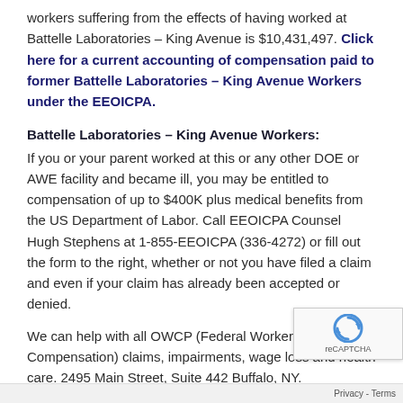workers suffering from the effects of having worked at Battelle Laboratories – King Avenue is $10,431,497. Click here for a current accounting of compensation paid to former Battelle Laboratories – King Avenue Workers under the EEOICPA.
Battelle Laboratories – King Avenue Workers:
If you or your parent worked at this or any other DOE or AWE facility and became ill, you may be entitled to compensation of up to $400K plus medical benefits from the US Department of Labor. Call EEOICPA Counsel Hugh Stephens at 1-855-EEOICPA (336-4272) or fill out the form to the right, whether or not you have filed a claim and even if your claim has already been accepted or denied.
We can help with all OWCP (Federal Workers Compensation) claims, impairments, wage loss and health care. 2495 Main Street, Suite 442 Buffalo, NY.
History:
Battelle Laboratories – King Avenue is located in Columbus, Ohio. In April 1943, an initial contract was made with Manhattan Engineering District to begin fabrication, rolling, forging, and extrusion of uranium metal. In addition, forging of thorium w also carried out. Both processes occurred from the mid-1940's